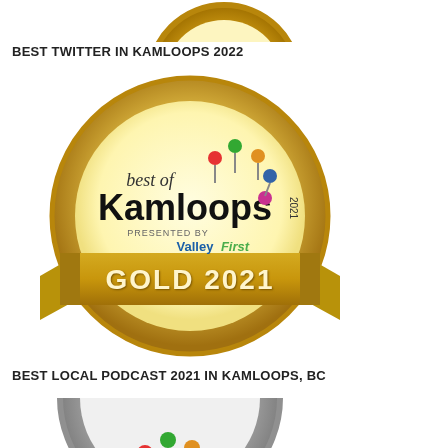[Figure (logo): Partial gold/bronze award badge visible at the top of the page (cropped) — Best of Kamloops style badge]
BEST TWITTER IN KAMLOOPS 2022
[Figure (logo): Best of Kamloops 2021 Gold award badge — circular gold medal with ribbon banner reading GOLD 2021, presented by Valley First, with colorful lollipop/dot logo accents]
BEST LOCAL PODCAST 2021 IN KAMLOOPS, BC
[Figure (logo): Partial grey/silver Best of Kamloops award badge visible at the bottom of the page (cropped)]